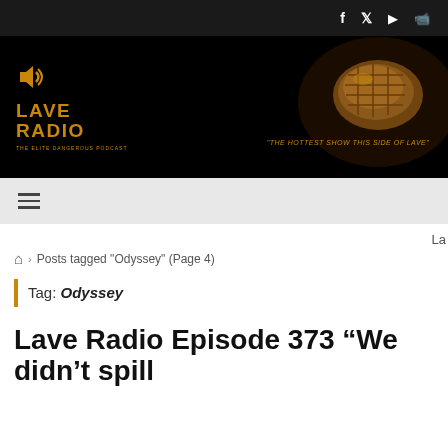Social icons: f (Facebook), Twitter, YouTube, Twitch
[Figure (logo): Lave Radio logo on black background with gold speaker icon and text 'LAVE RADIO', and gold nugget image with tagline 'THE HOTTEST SHOW THIS SIDE OF LAVE']
Hamburger menu navigation bar
La
Posts tagged "Odyssey" (Page 4)
Tag: Odyssey
Lave Radio Episode 373 “We didn’t spill